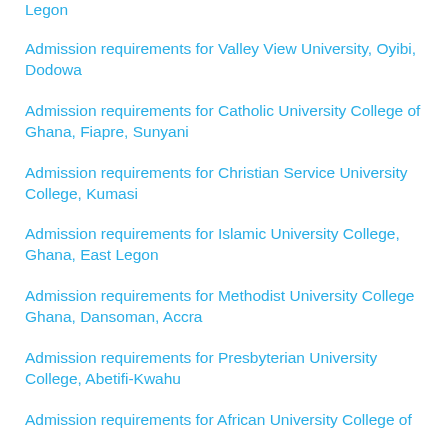Legon
Admission requirements for Valley View University, Oyibi, Dodowa
Admission requirements for Catholic University College of Ghana, Fiapre, Sunyani
Admission requirements for Christian Service University College, Kumasi
Admission requirements for Islamic University College, Ghana, East Legon
Admission requirements for Methodist University College Ghana, Dansoman, Accra
Admission requirements for Presbyterian University College, Abetifi-Kwahu
Admission requirements for African University College of